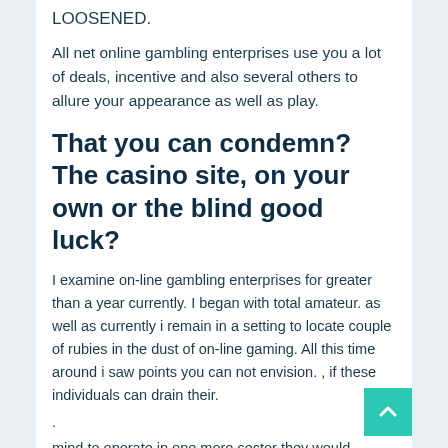LOOSENED.
All net online gambling enterprises use you a lot of deals, incentive and also several others to allure your appearance as well as play.
That you can condemn? The casino site, on your own or the blind good luck?
I examine on-line gambling enterprises for greater than a year currently. I began with total amateur. as well as currently i remain in a setting to locate couple of rubies in the dust of on-line gaming. All this time around i saw points you can not envision. , if these individuals can drain their.
.
mind to operate in one more sector they would